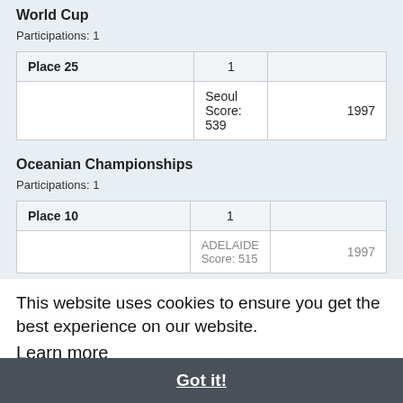World Cup
Participations: 1
|  |  |  |
| --- | --- | --- |
| Place 25 | 1 |  |
|  | Seoul
Score: 539 | 1997 |
Oceanian Championships
Participations: 1
|  |  |  |
| --- | --- | --- |
| Place 10 | 1 |  |
|  | ADELAIDE
Score: 515 | 1997 |
This website uses cookies to ensure you get the best experience on our website.
Learn more
10m Air Pistol Men (AP60)
World Cup
Participations: 1
|  |  |  |
| --- | --- | --- |
| Place 31 | 1 |  |
|  | Seoul | 1997 |
Got it!